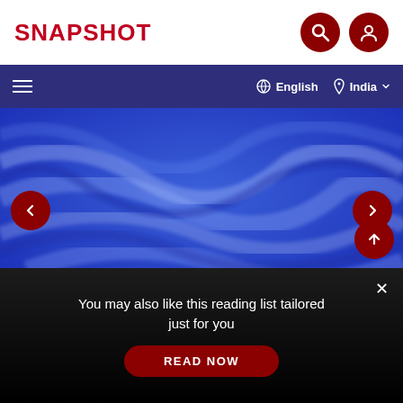SNAPSHOT
[Figure (screenshot): Navigation bar with hamburger menu, English language selector, and India region selector on dark blue background]
[Figure (photo): Close-up photo of blue fabric or textile with soft folds and waves, vivid cobalt blue color]
2018-01-05 · Tips & Tut... 14
2 Mesmerising Winter Photography Spots In...
You may also like this reading list tailored just for you
READ NOW